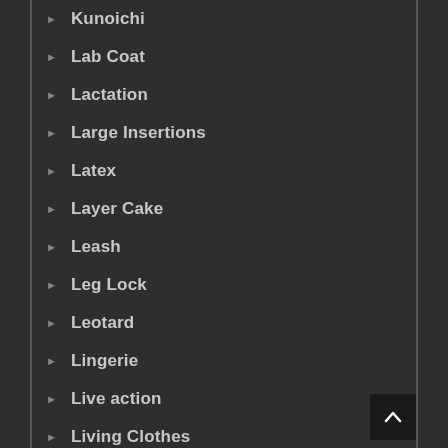Kunoichi
Lab Coat
Lactation
Large Insertions
Latex
Layer Cake
Leash
Leg Lock
Leotard
Lingerie
Live action
Living Clothes
Lizard Girl